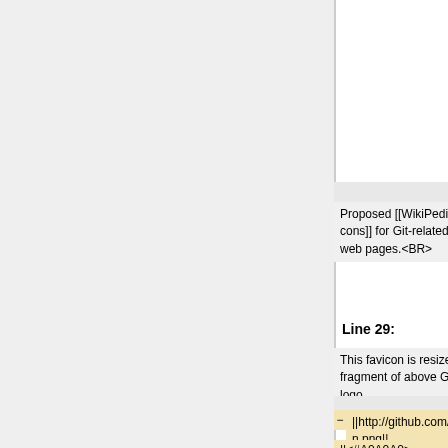|  | Left diff |  | Right diff |
| --- | --- | --- | --- |
|  | color: #A0A0A0"| | + | color: #A0A0A0"| |
|  |  | + | http://git.henrik.nyh.se/favicon.png || as above, gray background |
|  |  | + | |} |
|  | (context) |  | (context) |
|  | Proposed [[WikiPedia:Favicon|favicons]] for Git-related web pages.<BR> |  | Proposed [[WikiPedia:Favicon|favicons]] for Git-related web pages.<BR> |
| Line 29: |  | Line 38: |  |
|  | This favicon is resized fragment of above Git logo. |  | This favicon is resized fragment of above Git logo. |
|  | (context) |  | (context) |
| - | ||http://github.com/favicon.png|| [http://github.com/ GitHub] favicon|| | + | {| border="1" cellspacing="0" cellpadding="10" |
|  | ||<#A0A0A0> |  | | http://github.com/favicon |